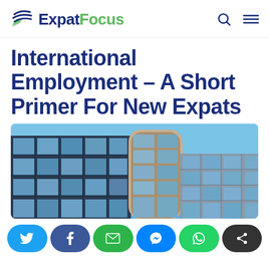ExpatFocus
International Employment – A Short Primer For New Expats
[Figure (photo): Upward-angle photograph of a modern glass-curtain-wall office building against a bright blue sky]
Social share buttons: Twitter, Facebook, Email, Messenger, WhatsApp, Share